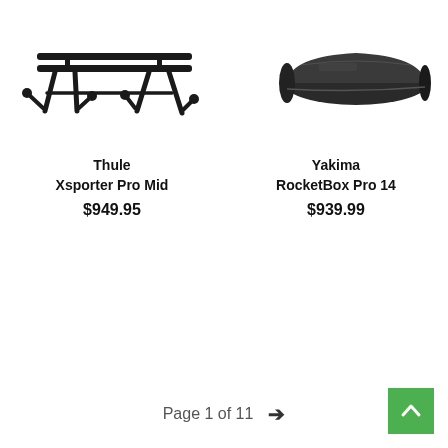[Figure (photo): Thule Xsporter Pro Mid truck bed rack system, black metal rack with legs, viewed from front angle]
[Figure (photo): Yakima RocketBox Pro 14 rooftop cargo box, black matte finish, viewed from side angle]
Thule
Xsporter Pro Mid
$949.95
Yakima
RocketBox Pro 14
$939.99
Page 1 of 11 →